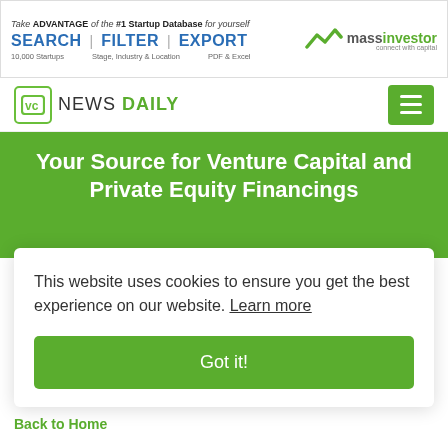[Figure (screenshot): MassInvestor banner advertisement with SEARCH, FILTER, EXPORT options and logo]
[Figure (logo): VC News Daily logo with green checkmark icon and hamburger menu button]
Your Source for Venture Capital and Private Equity Financings
This website uses cookies to ensure you get the best experience on our website. Learn more
Got it!
Back to Home